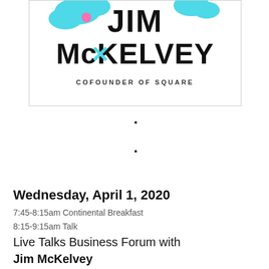[Figure (illustration): Book cover for Jim McKelvey, Cofounder of Square. Shows the author name 'JIM McKELVEY' in large bold letters with colorful decorative elements (cyan/blue and pink shapes). Below the name is 'COFOUNDER OF SQUARE' in small caps.]
Wednesday, April 1, 2020
7:45-8:15am Continental Breakfast
8:15-9:15am Talk
Live Talks Business Forum with Jim McKelvey